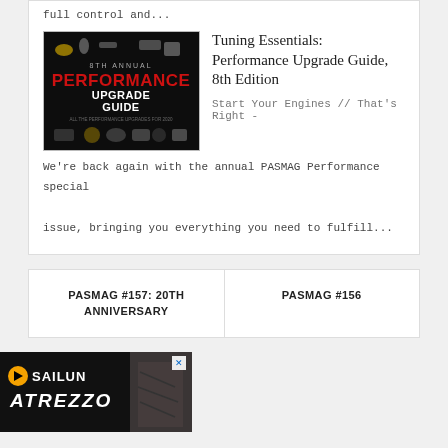full control and...
[Figure (illustration): Book cover: 8th Annual Performance Upgrade Guide on dark background with automotive parts]
Tuning Essentials: Performance Upgrade Guide, 8th Edition
Start Your Engines // That's Right -
We're back again with the annual PASMAG Performance special issue, bringing you everything you need to fulfill...
PASMAG #157: 20TH ANNIVERSARY
PASMAG #156
[Figure (photo): Sailun Atrezzo advertisement banner with muscular person and brand logo]